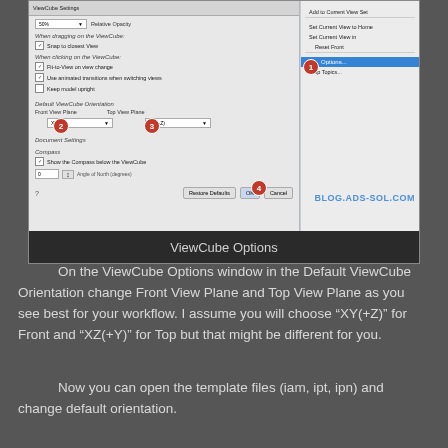[Figure (screenshot): ViewCube Options dialog window screenshot with numbered badges 1-4 indicating steps. Shows settings for Default ViewCube Orientation with Front View Plane and Top View Plane dropdowns, Document Settings, Compass options. A context menu on the right shows 'Options...' highlighted in blue. Steps: 1=Options menu item, 2=Front View Plane dropdown, 3=Top View Plane dropdown, 4=OK button.]
ViewCube Options
On the ViewCube Options window in the Default ViewCube Orientation change Front View Plane and Top View Plane as you see best for your workflow. I assume you will choose “XY(+Z)” for Front and “XZ(+Y)” for Top but that might be different for you.
Now you can open the template files (iam, ipt, ipn) and change default orientation.